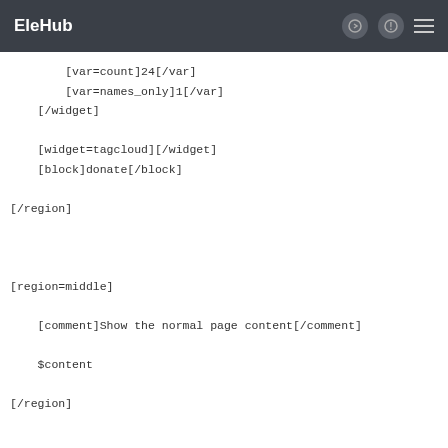EleHub
[var=count]24[/var]
        [var=names_only]1[/var]
    [/widget]

    [widget=tagcloud][/widget]
    [block]donate[/block]

[/region]



[region=middle]

    [comment]Show the normal page content[/comment]

    $content

[/region]



[region=right]

    [comment]Show my condensed channel "wall" feed and all